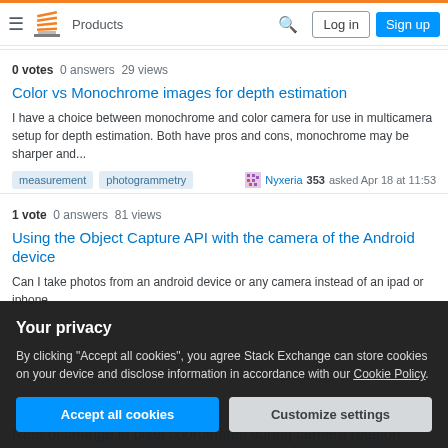Stack Overflow navigation bar with Products, Log in, Sign up
0 votes  0 answers  29 views
Color vs Monochrome images for depth estimation
I have a choice between monochrome and color camera for use in multicamera setup for depth estimation. Both have pros and cons, monochrome may be sharper and...
measurement  photogrammetry  Nyxeria 353 asked Apr 18 at 11:53
1 vote  0 answers  81 views
Using the Object Capture API with the camera of the Android device
Can I take photos from an android device or any camera instead of an ipad or iphone
Your privacy
By clicking "Accept all cookies", you agree Stack Exchange can store cookies on your device and disclose information in accordance with our Cookie Policy.
Accept all cookies
Customize settings
Rate of change in pixel coordinates during camera rotation